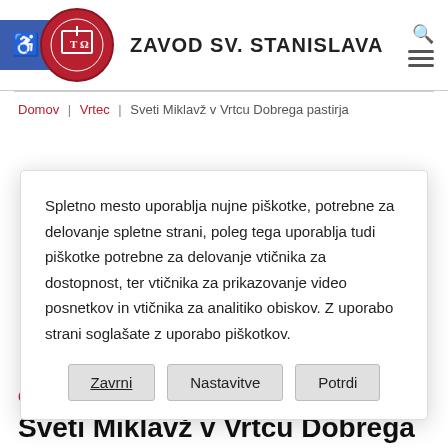ZAVOD SV. STANISLAVA
Domov | Vrtec | Sveti Miklavž v Vrtcu Dobrega pastirja
Spletno mesto uporablja nujne piškotke, potrebne za delovanje spletne strani, poleg tega uporablja tudi piškotke potrebne za delovanje vtičnika za dostopnost, ter vtičnika za prikazovanje video posnetkov in vtičnika za analitiko obiskov. Z uporabo strani soglašate z uporabo piškotkov.
Zavrni  Nastavitve  Potrdi
6. decembra 2018
Sveti Miklavž v Vrtcu Dobrega